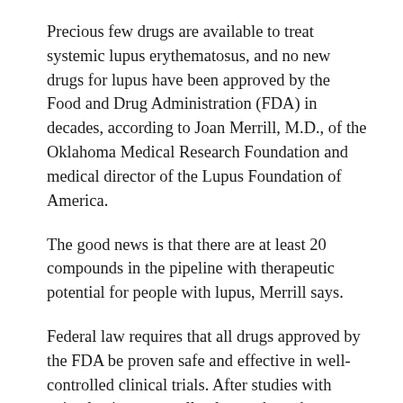Precious few drugs are available to treat systemic lupus erythematosus, and no new drugs for lupus have been approved by the Food and Drug Administration (FDA) in decades, according to Joan Merrill, M.D., of the Oklahoma Medical Research Foundation and medical director of the Lupus Foundation of America.
The good news is that there are at least 20 compounds in the pipeline with therapeutic potential for people with lupus, Merrill says.
Federal law requires that all drugs approved by the FDA be proven safe and effective in well-controlled clinical trials. After studies with animals, tissue, or cell cultures show that a substance has a promising therapeutic effect, a drug company may file an investigational new drug application with the FDA and, if approved, may begin clinical trials with human volunteers.
Phase I trials are usually conducted with small groups of people who are healthy and have no particular form of lupus...